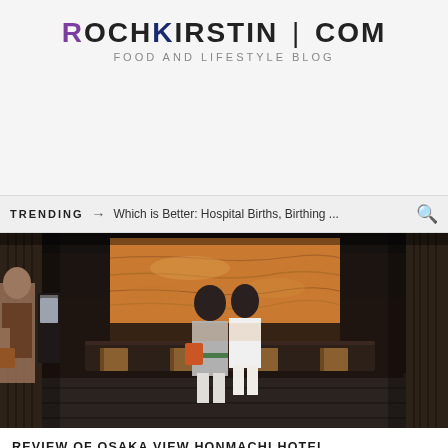ROCHKIRSTIN | COM
FOOD AND LIFESTYLE BLOG
TRENDING → Which is Better: Hospital Births, Birthing ...
[Figure (photo): Interior of Osaka View Honmachi Hotel lobby showing two people standing at a dark reception desk with a large orange/amber stone wall panel behind them, wooden slat accents on the sides, and wooden block pedestals along the counter. A third person is visible on the left side of the frame.]
REVIEW OF OSAKA VIEW HONMACHI HOTEL (OSAKA, JAPAN)